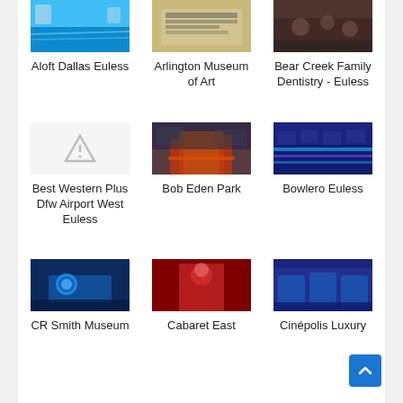[Figure (photo): Aloft Dallas Euless hotel pool photo]
[Figure (photo): Arlington Museum of Art exterior/sign photo]
[Figure (photo): Bear Creek Family Dentistry - Euless interior/crowd photo]
Aloft Dallas Euless
Arlington Museum of Art
Bear Creek Family Dentistry - Euless
[Figure (photo): Best Western Plus Dfw Airport West Euless - warning/placeholder image]
[Figure (photo): Bob Eden Park playground photo]
[Figure (photo): Bowlero Euless bowling alley photo]
Best Western Plus Dfw Airport West Euless
Bob Eden Park
Bowlero Euless
[Figure (photo): CR Smith Museum exterior night photo with blue globe]
[Figure (photo): Cabaret East performer in red outfit photo]
[Figure (photo): Cinépolis Luxury theater seats photo]
CR Smith Museum
Cabaret East
Cinépolis Luxury